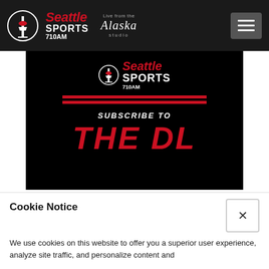[Figure (logo): Seattle Sports 710AM logo with Alaska studio branding in dark header bar with hamburger menu]
[Figure (screenshot): Seattle Sports 710AM banner with 'SUBSCRIBE TO THE DL' text in large red bold italic font on black background]
Subscribe to The DL
Get the 'down-low' on what's happening in the Seattle sports scene with expert perspectives from
Cookie Notice
We use cookies on this website to offer you a superior user experience, analyze site traffic, and personalize content and